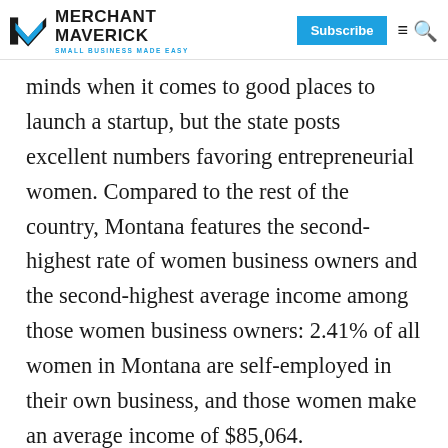MERCHANT MAVERICK — SMALL BUSINESS MADE EASY
minds when it comes to good places to launch a startup, but the state posts excellent numbers favoring entrepreneurial women. Compared to the rest of the country, Montana features the second-highest rate of women business owners and the second-highest average income among those women business owners: 2.41% of all women in Montana are self-employed in their own business, and those women make an average income of $85,064.